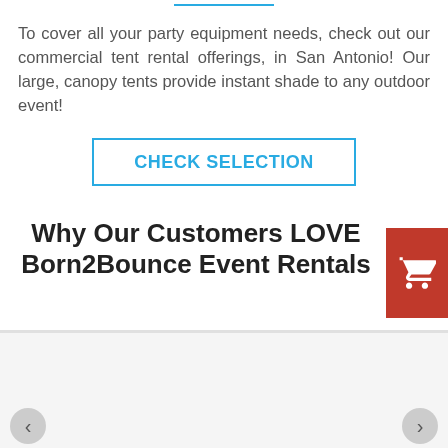To cover all your party equipment needs, check out our commercial tent rental offerings, in San Antonio! Our large, canopy tents provide instant shade to any outdoor event!
CHECK SELECTION
Why Our Customers LOVE Born2Bounce Event Rentals
[Figure (screenshot): Red shopping cart button widget on right side]
[Figure (infographic): Customer review section with pink avatar circle showing letter J, Get Started red button, reviewer name Kat Fisher, 4 gold stars rating, 15 days ago timestamp, and navigation arrows]
Kat Fisher
15 days ago